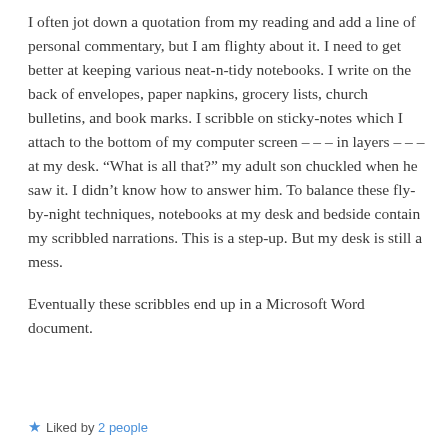I often jot down a quotation from my reading and add a line of personal commentary, but I am flighty about it. I need to get better at keeping various neat-n-tidy notebooks. I write on the back of envelopes, paper napkins, grocery lists, church bulletins, and book marks. I scribble on sticky-notes which I attach to the bottom of my computer screen – – – in layers – – – at my desk. “What is all that?” my adult son chuckled when he saw it. I didn’t know how to answer him. To balance these fly-by-night techniques, notebooks at my desk and bedside contain my scribbled narrations. This is a step-up. But my desk is still a mess.
Eventually these scribbles end up in a Microsoft Word document.
★ Liked by 2 people